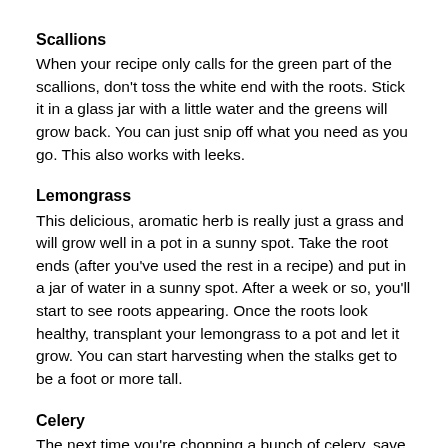Scallions
When your recipe only calls for the green part of the scallions, don't toss the white end with the roots. Stick it in a glass jar with a little water and the greens will grow back. You can just snip off what you need as you go. This also works with leeks.
Lemongrass
This delicious, aromatic herb is really just a grass and will grow well in a pot in a sunny spot. Take the root ends (after you've used the rest in a recipe) and put in a jar of water in a sunny spot. After a week or so, you'll start to see roots appearing. Once the roots look healthy, transplant your lemongrass to a pot and let it grow. You can start harvesting when the stalks get to be a foot or more tall.
Celery
The next time you're chopping a bunch of celery, save the root end! Place it in a shallow bowl of water, and after a few days, you should start to see roots and new leaves appear. As soon as you see these, you can plant the celery—